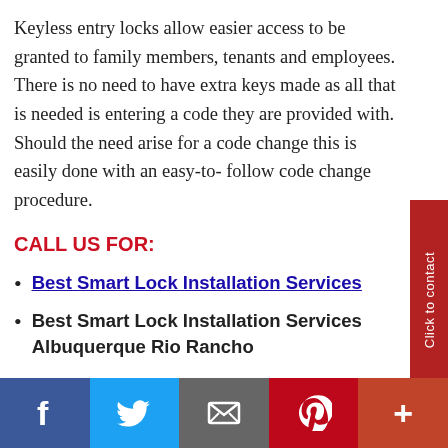Keyless entry locks allow easier access to be granted to family members, tenants and employees. There is no need to have extra keys made as all that is needed is entering a code they are provided with. Should the need arise for a code change this is easily done with an easy-to- follow code change procedure.
CALL US FOR:
Best Smart Lock Installation Services
Best Smart Lock Installation Services Albuquerque Rio Rancho
[Figure (other): Side tab button with text 'Click to contact' on dark red background]
Social share bar: Facebook, Twitter, Email, Pinterest, More